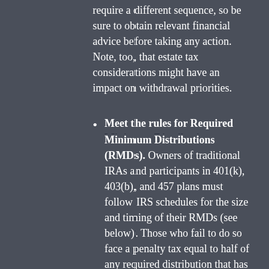require a different sequence, so be sure to obtain relevant financial advice before taking any action. Note, too, that estate tax considerations might have an impact on withdrawal priorities.
Meet the rules for Required Minimum Distributions (RMDs). Owners of traditional IRAs and participants in 401(k), 403(b), and 457 plans must follow IRS schedules for the size and timing of their RMDs (see below). Those who fail to do so face a penalty tax equal to half of any required distribution that has not been taken by the